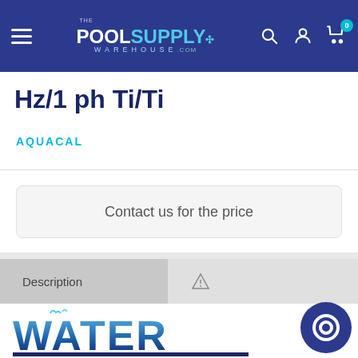[Figure (screenshot): Pool Supply Warehouse website header with logo, hamburger menu, search, account, and cart icons on a dark blue background]
Hz/1 ph Ti/Ti
AQUACAL
Contact us for the price
Description
[Figure (logo): WATER logo in blue gradient letters with water splash design]